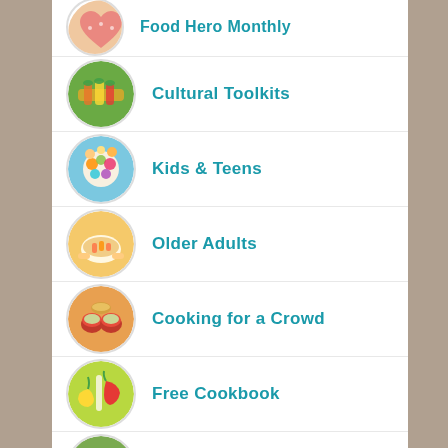Food Hero Monthly
Cultural Toolkits
Kids & Teens
Older Adults
Cooking for a Crowd
Free Cookbook
Food Safety